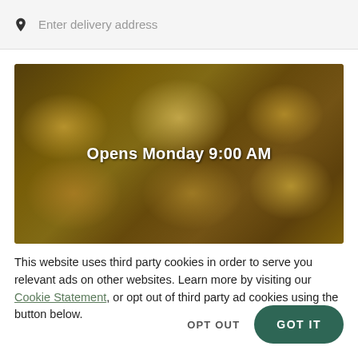Enter delivery address
[Figure (photo): Food delivery app screenshot showing various food dishes on plates from an overhead view, with a dark overlay]
Opens Monday 9:00 AM
This website uses third party cookies in order to serve you relevant ads on other websites. Learn more by visiting our Cookie Statement, or opt out of third party ad cookies using the button below.
OPT OUT
GOT IT